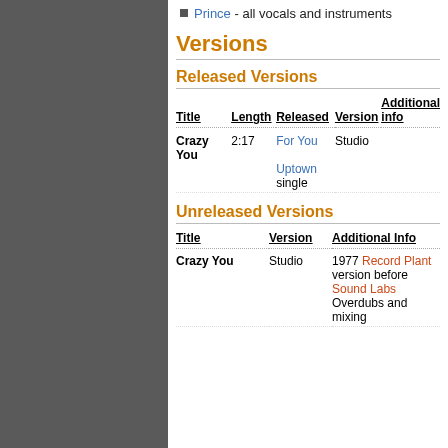Prince - all vocals and instruments
Versions
Released Versions
| Title | Length | Released | Version | Additional info |
| --- | --- | --- | --- | --- |
| Crazy You | 2:17 | For You
Uptown
single | Studio |  |
Unreleased Versions
| Title | Version | Additional Info |
| --- | --- | --- |
| Crazy You | Studio | 1977 Record Plant version before Sound Labs Overdubs and mixing |